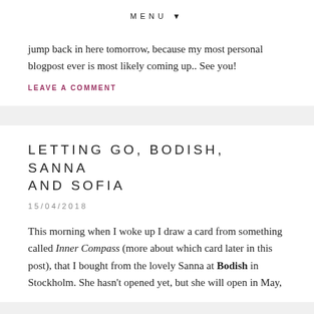MENU ▼
jump back in here tomorrow, because my most personal blogpost ever is most likely coming up.. See you!
LEAVE A COMMENT
LETTING GO, BODISH, SANNA AND SOFIA
15/04/2018
This morning when I woke up I draw a card from something called Inner Compass (more about which card later in this post), that I bought from the lovely Sanna at Bodish in Stockholm. She hasn't opened yet, but she will open in May,